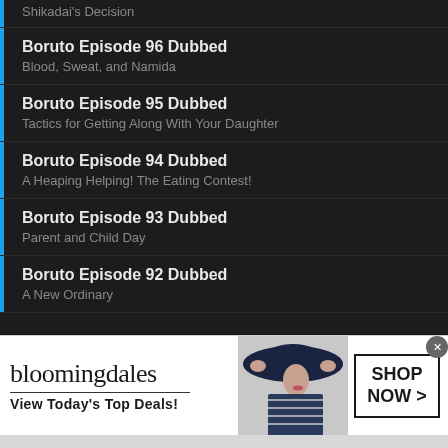Shikadai's Decision
Boruto Episode 96 Dubbed
Blood, Sweat, and Namida
Boruto Episode 95 Dubbed
Tactics for Getting Along With Your Daughter
Boruto Episode 94 Dubbed
A Heaping Helping! The Eating Contest!
Boruto Episode 93 Dubbed
Parent and Child Day
Boruto Episode 92 Dubbed
A New Ordinary
[Figure (screenshot): Bloomingdale's advertisement banner with brand logo, tagline 'View Today's Top Deals!', woman in wide-brim hat, and 'SHOP NOW >' call-to-action button]